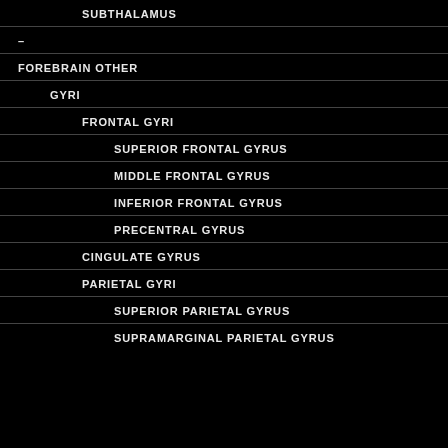SUBTHALAMUS
–
FOREBRAIN OTHER
GYRI
FRONTAL GYRI
SUPERIOR FRONTAL GYRUS
MIDDLE FRONTAL GYRUS
INFERIOR FRONTAL GYRUS
PRECENTRAL GYRUS
CINGULATE GYRUS
PARIETAL GYRI
SUPERIOR PARIETAL GYRUS
SUPRAMARGINAL PARIETAL GYRUS